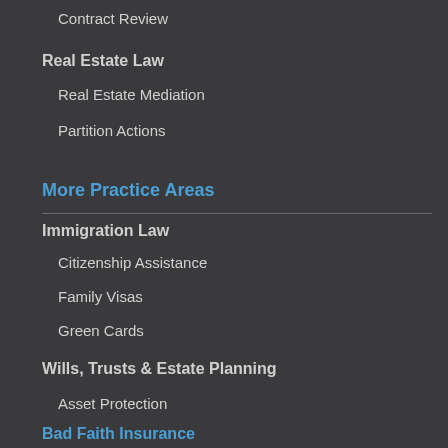Contract Review
Real Estate Law
Real Estate Mediation
Partition Actions
More Practice Areas
Immigration Law
Citizenship Assistance
Family Visas
Green Cards
Wills, Trusts & Estate Planning
Asset Protection
Bad Faith Insurance
Personal Injury Law